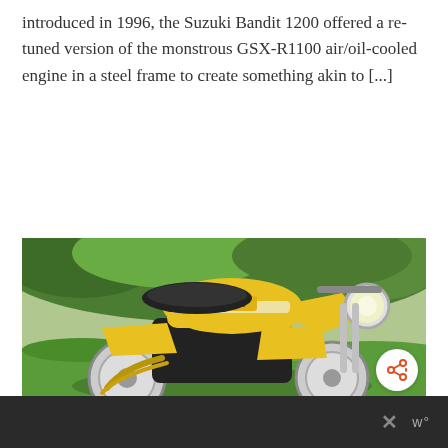introduced in 1996, the Suzuki Bandit 1200 offered a re-tuned version of the monstrous GSX-R1100 air/oil-cooled engine in a steel frame to create something akin to [...]
CONTINUE READING
[Figure (photo): A yellow Honda motorcycle parked on grass in a garden setting. The motorcycle has a classic naked bike style with chrome headlight, yellow fuel tank with white stripe, black seat, and chrome exhaust pipes. There is a green garden background with bushes and trees.]
× w°